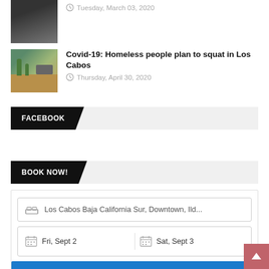[Figure (photo): Thumbnail image of a desert scene with a vehicle, cacti and arid landscape]
Covid-19: Homeless people plan to squat in Los Cabos
Thursday, April 30, 2020
FACEBOOK
BOOK NOW!
Los Cabos Baja California Sur, Downtown, Ild...
Fri, Sept 2
Sat, Sept 3
Search